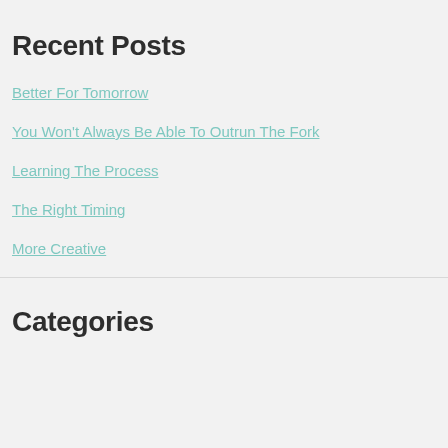Recent Posts
Better For Tomorrow
You Won't Always Be Able To Outrun The Fork
Learning The Process
The Right Timing
More Creative
Categories